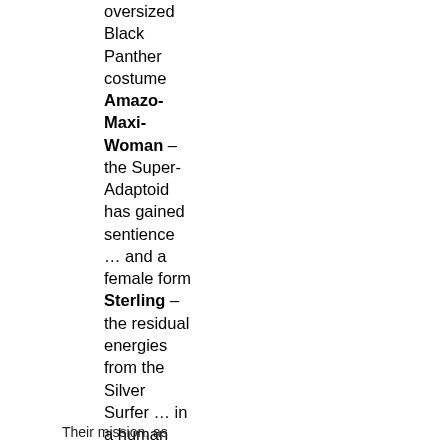oversized Black Panther costume Amazo-Maxi-Woman – the Super-Adaptoid has gained sentience … and a female form Sterling – the residual energies from the Silver Surfer … in a human form
Their mission, as